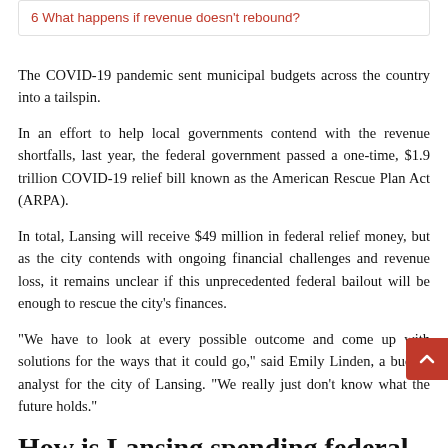6 What happens if revenue doesn't rebound?
The COVID-19 pandemic sent municipal budgets across the country into a tailspin.
In an effort to help local governments contend with the revenue shortfalls, last year, the federal government passed a one-time, $1.9 trillion COVID-19 relief bill known as the American Rescue Plan Act (ARPA).
In total, Lansing will receive $49 million in federal relief money, but as the city contends with ongoing financial challenges and revenue loss, it remains unclear if this unprecedented federal bailout will be enough to rescue the city's finances.
“We have to look at every possible outcome and come up with solutions for the ways that it could go,” said Emily Linden, a budget analyst for the city of Lansing. “We really just don’t know what the future holds.”
How is Lansing spending federal